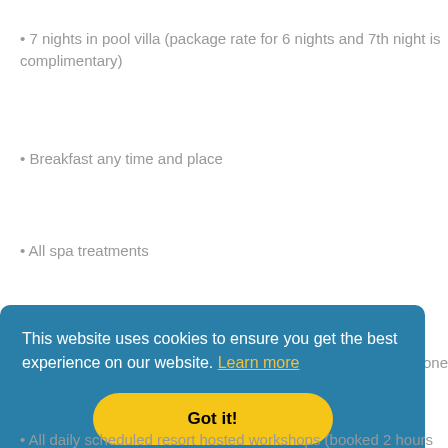• 7 nights in pool villa (package rate for 6 nights and 7th night is complimentary)
• Breakfast any time and place
• All spa treatments
This website uses cookies to ensure you get the best experience on our website. Learn more
Got it!
one
• All daily scheduled resort hosted workshops (booked 2 hours